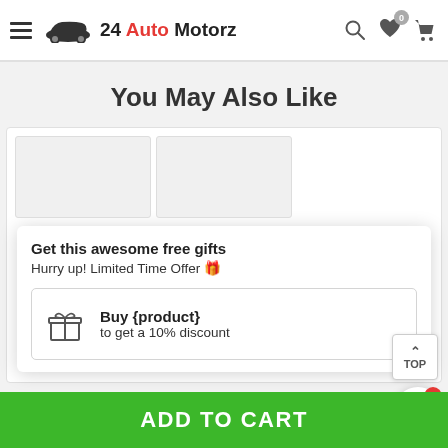24 Auto Motorz
You May Also Like
Get this awesome free gifts
Hurry up! Limited Time Offer 🎁
Buy {product}
to get a 10% discount
ADD TO CART